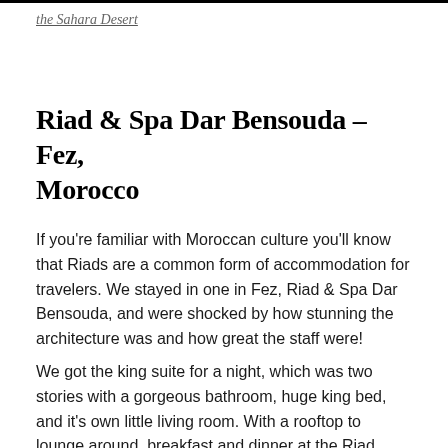the Sahara Desert
Riad & Spa Dar Bensouda – Fez, Morocco
If you're familiar with Moroccan culture you'll know that Riads are a common form of accommodation for travelers. We stayed in one in Fez, Riad & Spa Dar Bensouda, and were shocked by how stunning the architecture was and how great the staff were!
We got the king suite for a night, which was two stories with a gorgeous bathroom, huge king bed, and it's own little living room. With a rooftop to lounge around, breakfast and dinner at the Riad restaurant, open-air sitting areas, and a spa with